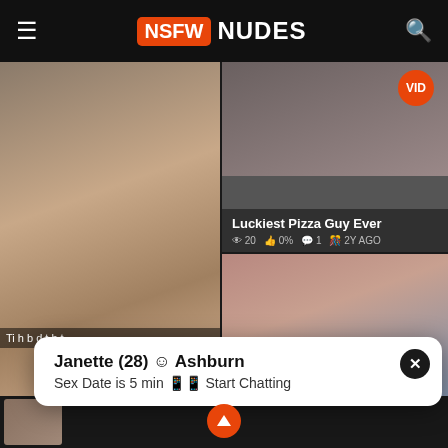NSFW NUDES
[Figure (photo): Tattooed woman posing, left panel]
[Figure (photo): Video thumbnail - Luckiest Pizza Guy Ever, 20 views, 0%, 1 comment, 2Y AGO]
[Figure (photo): Woman in red top in car, right bottom panel]
Janette (28) ☺ Ashburn
Sex Date is 5 min 📱📱 Start Chatting